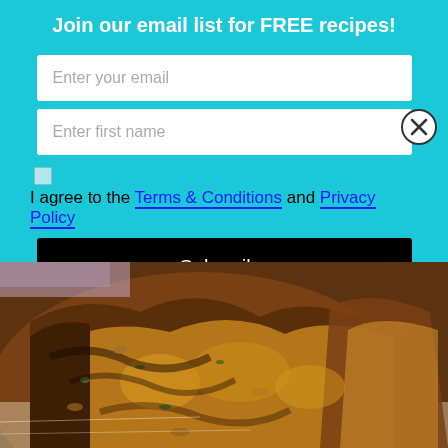Join our email list for FREE recipes!
Enter your email
Enter first name
I agree to the Terms & Conditions and Privacy Policy
Subscribe
[Figure (photo): Close-up photo of sliced zucchini chocolate bread loaf pieces on white parchment paper]